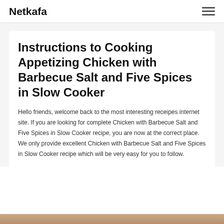Netkafa
Instructions to Cooking Appetizing Chicken with Barbecue Salt and Five Spices in Slow Cooker
Hello friends, welcome back to the most interesting receipes internet site. If you are looking for complete Chicken with Barbecue Salt and Five Spices in Slow Cooker recipe, you are now at the correct place. We only provide excellent Chicken with Barbecue Salt and Five Spices in Slow Cooker recipe which will be very easy for you to follow.
[Figure (photo): Food photo at bottom of page, partially visible]